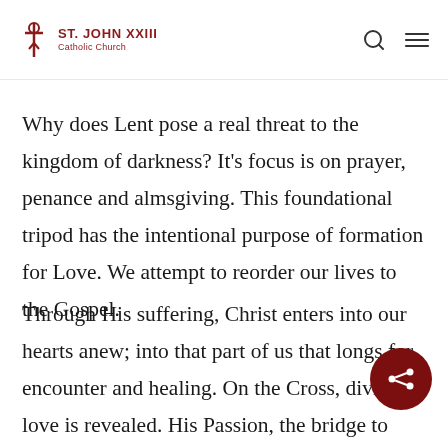St. John XXIII Catholic Church
Why does Lent pose a real threat to the kingdom of darkness? It's focus is on prayer, penance and almsgiving. This foundational tripod has the intentional purpose of formation for Love. We attempt to reorder our lives to the Gospel.
Through His suffering, Christ enters into our hearts anew; into that part of us that longs for encounter and healing. On the Cross, divine love is revealed. His Passion, the bridge to Easter, tenderizes our heart;